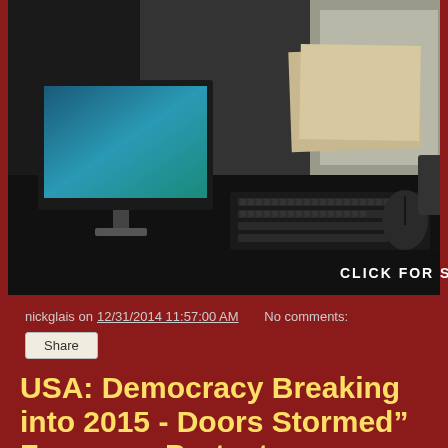[Figure (screenshot): Video screenshot of an office/reception area with a computer monitor showing a blue screen, a keyboard and mouse on a dark desk, papers and items in the background. A 'CLICK FOR SOUND' overlay with a muted speaker icon appears in the bottom right of the video frame.]
nickglais on 12/31/2014 11:57:00 AM   No comments:
Share
USA: Democracy Breaking into 2015 - Doors Stormed" Ferguson Protesters